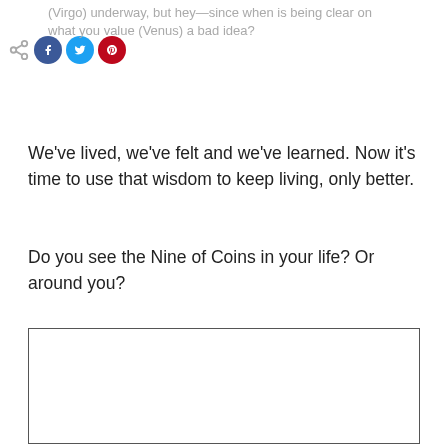(Virgo) underway, but hey—since when is being clear on what you value (Venus) a bad idea?
We've lived, we've felt and we've learned. Now it's time to use that wisdom to keep living, only better.
Do you see the Nine of Coins in your life? Or around you?
[Figure (other): Empty comment/text input box with a dark border]